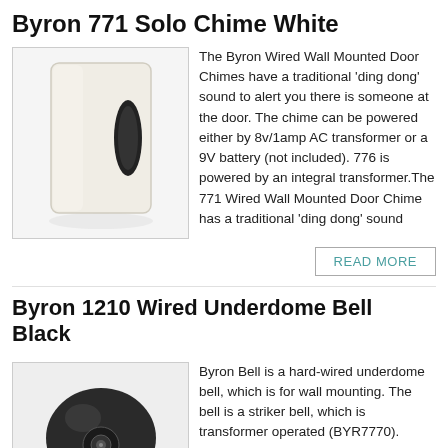Byron 771 Solo Chime White
[Figure (photo): White wall-mounted door chime unit, rectangular shape with a dark oval speaker opening on the right side, shown against a white background with a subtle shadow.]
The Byron Wired Wall Mounted Door Chimes have a traditional 'ding dong' sound to alert you there is someone at the door. The chime can be powered either by 8v/1amp AC transformer or a 9V battery (not included). 776 is powered by an integral transformer.The 771 Wired Wall Mounted Door Chime has a traditional 'ding dong' sound
READ MORE
Byron 1210 Wired Underdome Bell Black
[Figure (photo): Black circular underdome bell, hard-wired, shown from the front/slightly below, with a central striker visible, against a white background.]
Byron Bell is a hard-wired underdome bell, which is for wall mounting. The bell is a striker bell, which is transformer operated (BYR7770). Transformer NOT supplied with product.The Byron BYR1210 has Black finish.